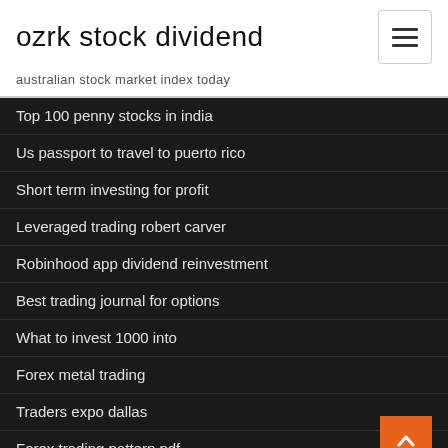ozrk stock dividend
australian stock market index today
Top 100 penny stocks in india
Us passport to travel to puerto rico
Short term investing for profit
Leveraged trading robert carver
Robinhood app dividend reinvestment
Best trading journal for options
What to invest 1000 into
Forex metal trading
Traders expo dallas
Forex trading pattern pdf